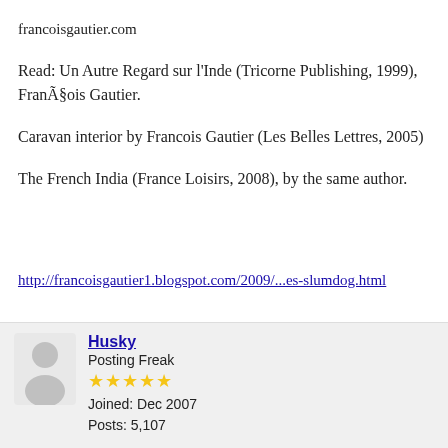francoisgautier.com
Read: Un Autre Regard sur l'Inde (Tricorne Publishing, 1999), François Gautier.
Caravan interior by Francois Gautier (Les Belles Lettres, 2005)
The French India (France Loisirs, 2008), by the same author.
http://francoisgautier1.blogspot.com/2009/...es-slumdog.html
Husky
Posting Freak
★★★★★
Joined: Dec 2007
Posts: 5,107